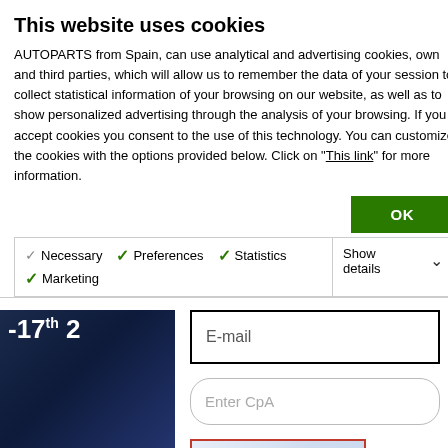This website uses cookies
AUTOPARTS from Spain, can use analytical and advertising cookies, own and third parties, which will allow us to remember the data of your session to collect statistical information of your browsing on our website, as well as to show personalized advertising through the analysis of your browsing. If you accept cookies you consent to the use of this technology. You can customize the cookies with the options provided below. Click on "This link" for more information.
OK
Necessary  Preferences  Statistics  Marketing  Show details
[Figure (screenshot): Partially visible background page with blue dark image banner showing -17th 2, date August 2022, and text 'Autopar exhibit t' cropped]
E-mail
Enter CpA
[Figure (screenshot): CAPTCHA image with wavy background and text Cp, with red border, next to a blue refresh icon]